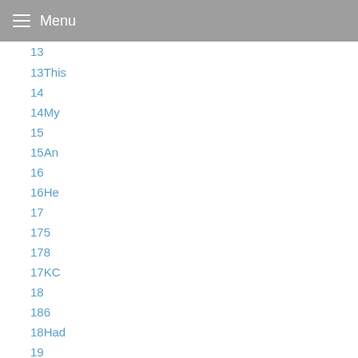Menu
13
13This
14
14My
15
15An
16
16He
17
175
178
17KC
18
186
18Had
19
1979